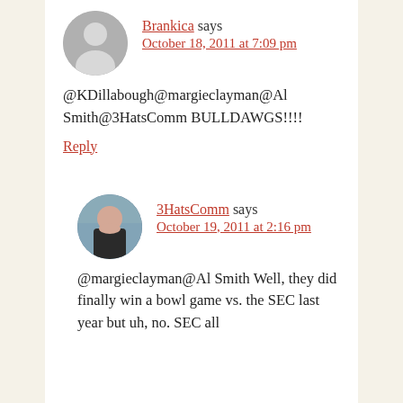Brankica says October 18, 2011 at 7:09 pm
@KDillabough@margieclayman@Al Smith@3HatsComm BULLDAWGS!!!!
Reply
3HatsComm says October 19, 2011 at 2:16 pm
@margieclayman@Al Smith Well, they did finally win a bowl game vs. the SEC last year but uh, no. SEC all